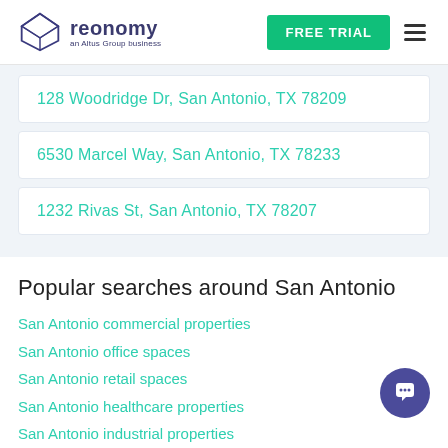[Figure (logo): Reonomy logo — geometric diamond/cube icon in purple outline, beside text 'reonomy' in dark blue/purple bold font with subtitle 'an Altus Group business']
FREE TRIAL
128 Woodridge Dr, San Antonio, TX 78209
6530 Marcel Way, San Antonio, TX 78233
1232 Rivas St, San Antonio, TX 78207
Popular searches around San Antonio
San Antonio commercial properties
San Antonio office spaces
San Antonio retail spaces
San Antonio healthcare properties
San Antonio industrial properties